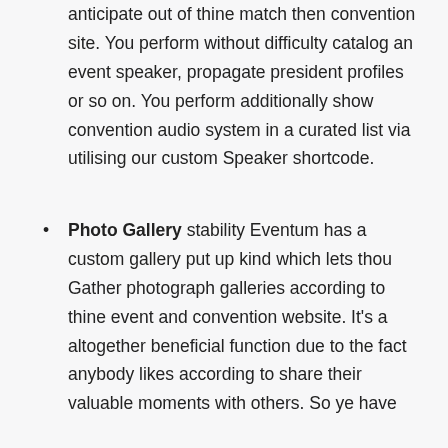anticipate out of thine match then convention site. You perform without difficulty catalog an event speaker, propagate president profiles or so on. You perform additionally show convention audio system in a curated list via utilising our custom Speaker shortcode.
Photo Gallery stability Eventum has a custom gallery put up kind which lets thou Gather photograph galleries according to thine event and convention website. It's a altogether beneficial function due to the fact anybody likes according to share their valuable moments with others. So ye have